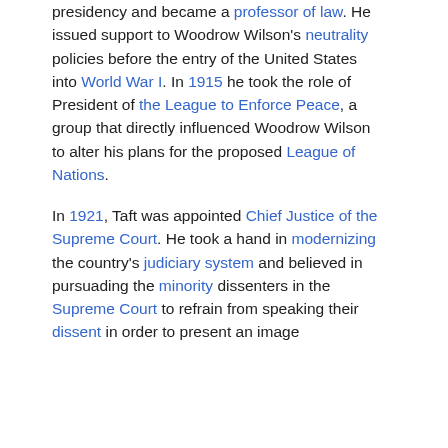presidency and became a professor of law. He issued support to Woodrow Wilson's neutrality policies before the entry of the United States into World War I. In 1915 he took the role of President of the League to Enforce Peace, a group that directly influenced Woodrow Wilson to alter his plans for the proposed League of Nations.
In 1921, Taft was appointed Chief Justice of the Supreme Court. He took a hand in modernizing the country's judiciary system and believed in pursuading the minority dissenters in the Supreme Court to refrain from speaking their dissent in order to present an image